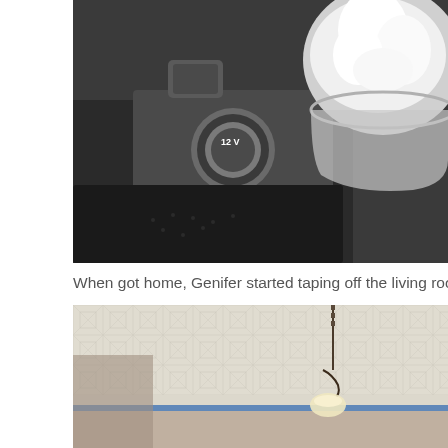[Figure (photo): Close-up photo of a car console showing a 12V power outlet and a container of white whipped cream or similar substance placed next to it.]
When got home, Genifer started taping off the living room with
[Figure (photo): Photo of a living room ceiling with decorative tin tiles and a hanging light fixture, with blue painter's tape visible along the wall/ceiling edge.]